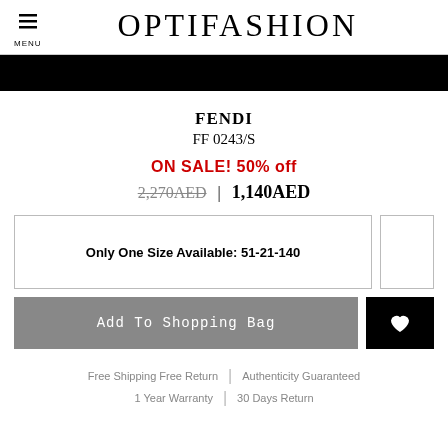MENU | OPTIFASHION
[Figure (other): Black banner bar]
FENDI
FF 0243/S
ON SALE! 50% off
2,270AED | 1,140AED
Only One Size Available: 51-21-140
Add To Shopping Bag
Free Shipping Free Return | Authenticity Guaranteed
1 Year Warranty | 30 Days Return